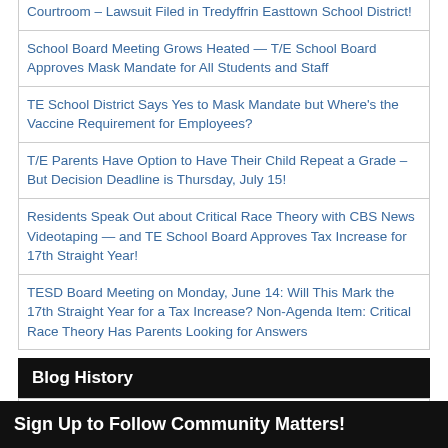Courtroom – Lawsuit Filed in Tredyffrin Easttown School District!
School Board Meeting Grows Heated — T/E School Board Approves Mask Mandate for All Students and Staff
TE School District Says Yes to Mask Mandate but Where's the Vaccine Requirement for Employees?
T/E Parents Have Option to Have Their Child Repeat a Grade – But Decision Deadline is Thursday, July 15!
Residents Speak Out about Critical Race Theory with CBS News Videotaping — and TE School Board Approves Tax Increase for 17th Straight Year!
TESD Board Meeting on Monday, June 14: Will This Mark the 17th Straight Year for a Tax Increase? Non-Agenda Item: Critical Race Theory Has Parents Looking for Answers
Blog History
Select Month
Sign Up to Follow Community Matters!